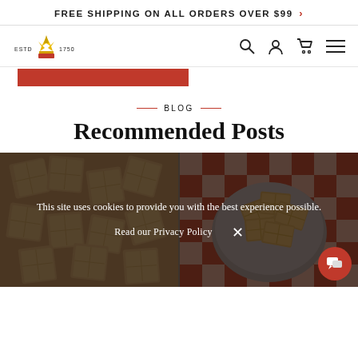FREE SHIPPING ON ALL ORDERS OVER $99 >
[Figure (logo): Brand logo with crown/wheat icon, ESTD 1750 text, and navigation icons (search, user, cart, menu)]
[Figure (other): Red navigation bar, partial]
— BLOG —
Recommended Posts
[Figure (photo): Left: close-up photo of square crackers on wooden surface. Right: bowl of graham crackers on red checkered cloth. Cookie consent overlay: 'This site uses cookies to provide you with the best experience possible. Read our Privacy Policy [X]' with red chat bubble icon.]